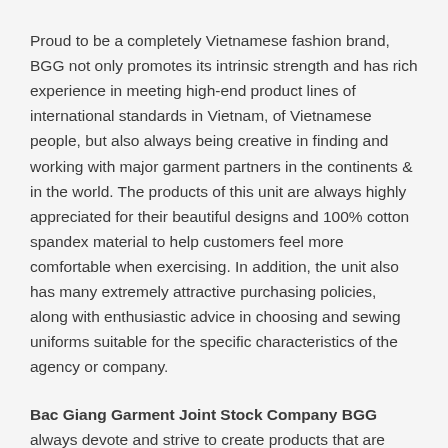Proud to be a completely Vietnamese fashion brand, BGG not only promotes its intrinsic strength and has rich experience in meeting high-end product lines of international standards in Vietnam, of Vietnamese people, but also always being creative in finding and working with major garment partners in the continents & in the world. The products of this unit are always highly appreciated for their beautiful designs and 100% cotton spandex material to help customers feel more comfortable when exercising. In addition, the unit also has many extremely attractive purchasing policies, along with enthusiastic advice in choosing and sewing uniforms suitable for the specific characteristics of the agency or company.
Bac Giang Garment Joint Stock Company BGG always devote and strive to create products that are highly